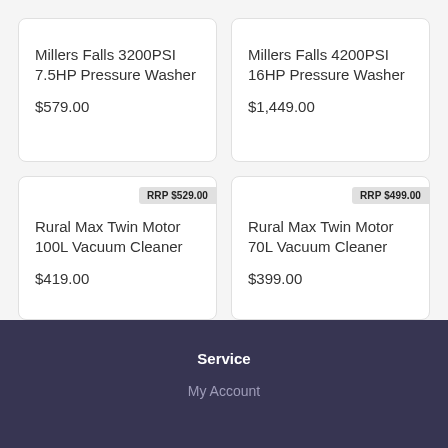Millers Falls 3200PSI 7.5HP Pressure Washer
$579.00
Millers Falls 4200PSI 16HP Pressure Washer
$1,449.00
RRP $529.00
Rural Max Twin Motor 100L Vacuum Cleaner
$419.00
RRP $499.00
Rural Max Twin Motor 70L Vacuum Cleaner
$399.00
Service
My Account